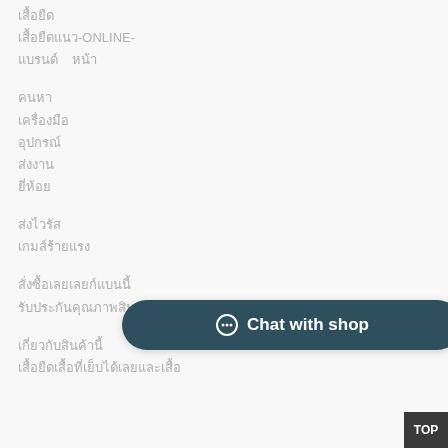xxxxxxx
xxxxxxxxxx-ONLINE-
xxxxxxxx    xx
xxxx
xxxxxxxxx
xxxxxxxx
xxxxxx
xxxxxxx
xxxxxx
xxxxxxxxx
xxxxxxxxxxxxxxxxxx
xxxxxxxxxxxxxxxxxxxxxxxxxxxxxxxxx
xxxxxxxxxxxxxxxxxx
xxxxxxxxxxxxxxxxxxxxxxxxxxxxxxxxxxxxxx
[Figure (other): Chat with shop button overlay - dark teal rounded pill button with chat icon and text 'Chat with shop']
TOP